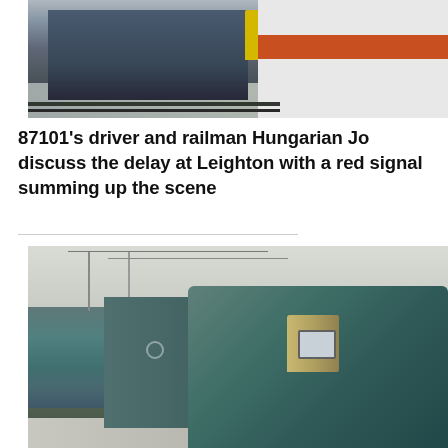[Figure (photo): Top portion of a photograph showing a British Rail electric locomotive (blue/grey) at a platform alongside an InterCity coach with orange and white livery]
87101's driver and railman Hungarian Jo discuss the delay at Leighton with a red signal summing up the scene
[Figure (photo): Photograph of a British Rail Class 86 or similar electric locomotive in blue/teal livery at a station platform, shot from platform level showing the front cab and side of the loco with overhead electrification equipment visible]